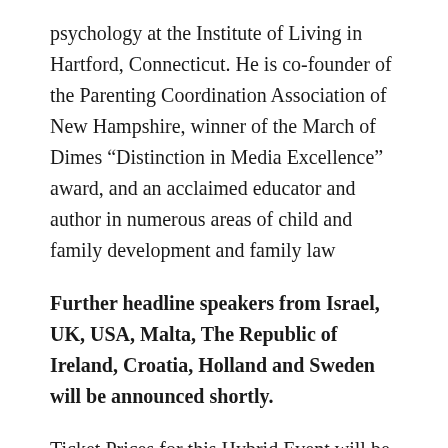psychology at the Institute of Living in Hartford, Connecticut. He is co-founder of the Parenting Coordination Association of New Hampshire, winner of the March of Dimes “Distinction in Media Excellence” award, and an acclaimed educator and author in numerous areas of child and family development and family law
Further headline speakers from Israel, UK, USA, Malta, The Republic of Ireland, Croatia, Holland and Sweden will be announced shortly.
Ticket Prices for this Hybrid Event will be as follows –
Online: £75 per day or £125 for two days